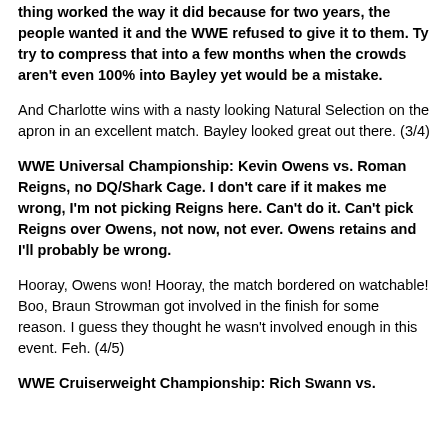thing worked the way it did because for two years, the people wanted it and the WWE refused to give it to them. Ty try to compress that into a few months when the crowds aren't even 100% into Bayley yet would be a mistake.
And Charlotte wins with a nasty looking Natural Selection on the apron in an excellent match. Bayley looked great out there. (3/4)
WWE Universal Championship: Kevin Owens vs. Roman Reigns, no DQ/Shark Cage. I don't care if it makes me wrong, I'm not picking Reigns here. Can't do it. Can't pick Reigns over Owens, not now, not ever. Owens retains and I'll probably be wrong.
Hooray, Owens won! Hooray, the match bordered on watchable! Boo, Braun Strowman got involved in the finish for some reason. I guess they thought he wasn't involved enough in this event. Feh. (4/5)
WWE Cruiserweight Championship: Rich Swann vs.